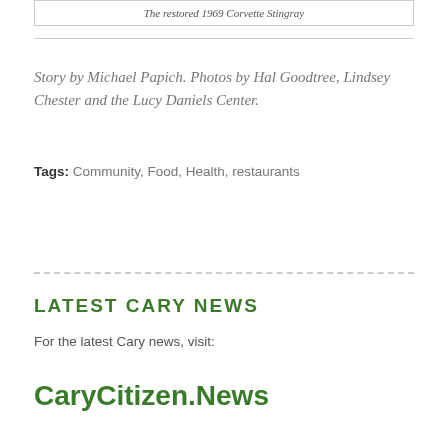The restored 1969 Corvette Stingray
Story by Michael Papich. Photos by Hal Goodtree, Lindsey Chester and the Lucy Daniels Center.
Tags: Community, Food, Health, restaurants
LATEST CARY NEWS
For the latest Cary news, visit:
CaryCitizen.News